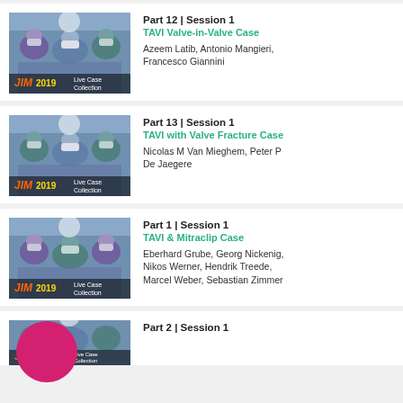[Figure (photo): JIM 2019 Live Case Collection thumbnail showing surgeons in operating room, Part 12 Session 1]
Part 12 | Session 1
TAVI Valve-in-Valve Case
Azeem Latib, Antonio Mangieri, Francesco Giannini
[Figure (photo): JIM 2019 Live Case Collection thumbnail showing surgeons in operating room, Part 13 Session 1]
Part 13 | Session 1
TAVI with Valve Fracture Case
Nicolas M Van Mieghem, Peter P De Jaegere
[Figure (photo): JIM 2019 Live Case Collection thumbnail showing surgeons in operating room, Part 1 Session 1]
Part 1 | Session 1
TAVI & Mitraclip Case
Eberhard Grube, Georg Nickenig, Nikos Werner, Hendrik Treede, Marcel Weber, Sebastian Zimmer
[Figure (photo): JIM 2019 Live Case Collection thumbnail showing surgeons in operating room, Part 2 Session 1 (partial)]
Part 2 | Session 1